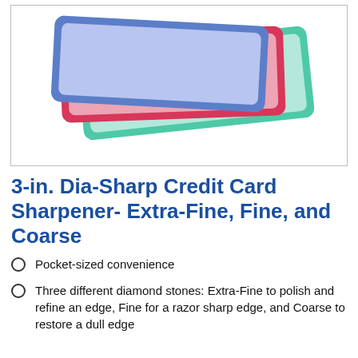[Figure (photo): Three credit card-sized diamond sharpeners stacked on top of each other — blue on top, red in middle, green on bottom — each with a lighter colored inner rectangle, photographed on a white background.]
3-in. Dia-Sharp Credit Card Sharpener- Extra-Fine, Fine, and Coarse
Pocket-sized convenience
Three different diamond stones: Extra-Fine to polish and refine an edge, Fine for a razor sharp edge, and Coarse to restore a dull edge